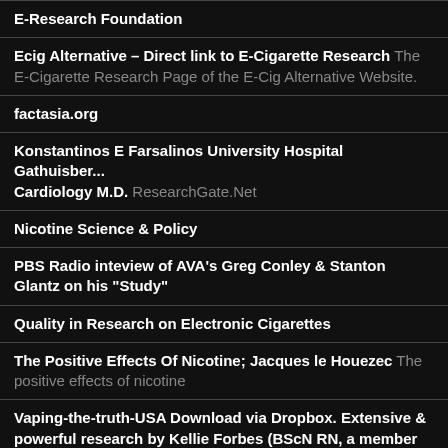E-Research Foundation
Ecig Alternative – Direct link to E-Cigarette Research The E-Cigarette Research Page of the E-Cig Alternative Website.
factasia.org
Konstantinos E Farsalinos University Hospital Gathuisber... Cardiology M.D. ResearchGate.Net
Nicotine Science & Policy
PBS Radio inteview of AVA's Greg Conley & Stanton Glantz on his "Study"
Quality in Research on Electronic Cigarettes
The Positive Effects Of Nicotine; Jacques le Houezec The positive effects of nicotine
Vaping-the-truth-USA Download via Dropbox. Extensive & powerful research by Kellie Forbes (BScN RN, a member of M.O.V.E.) in PDF form, EXCELLENT PDF.